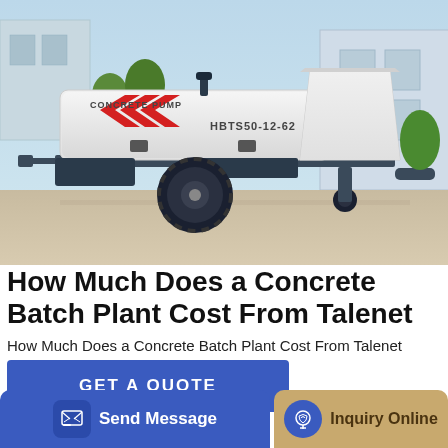[Figure (photo): Photo of a white concrete pump machine labeled 'CONCRETE PUMP' and 'HBTS50-12-62' with red chevron stripes, mounted on a wheeled trailer, parked in an industrial yard with buildings in the background.]
How Much Does a Concrete Batch Plant Cost From Talenet
How Much Does a Concrete Batch Plant Cost From Talenet
GET A QUOTE
Send Message
Inquiry Online